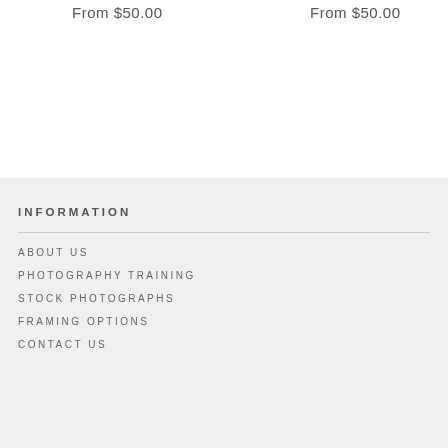From $50.00
From $50.00
INFORMATION
ABOUT US
PHOTOGRAPHY TRAINING
STOCK PHOTOGRAPHS
FRAMING OPTIONS
CONTACT US